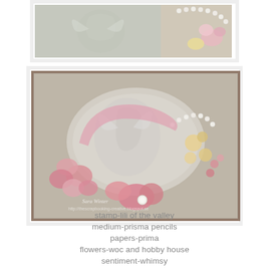[Figure (photo): Close-up photo of a decorative craft piece showing a fairy stamped image with pencil coloring, pearl embellishments, and pink and yellow flower decorations on a light background.]
[Figure (photo): Photo of an ornate decorative plate or tray with a fairy stamped image, surrounded by pink ribbon roses, pink fabric flowers, pearl accents, small yellow and pink roses arranged around an oval frame on a lace background. Watermark text visible at bottom.]
stamp-lili of the valley
medium-prisma pencils
papers-prima
flowers-woc and hobby house
sentiment-whimsy